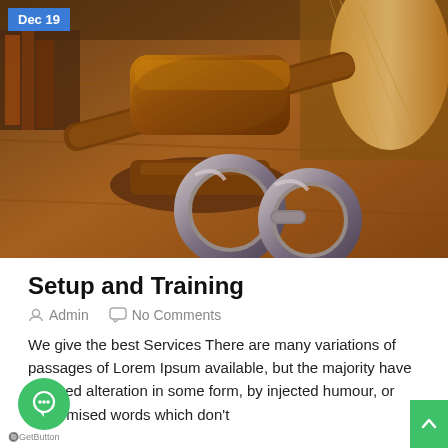[Figure (photo): Photo of a judge's gavel, handcuffs, and law books on a wooden table — legal/court themed image]
Dec 19
Setup and Training
Admin   No Comments
We give the best Services There are many variations of passages of Lorem Ipsum available, but the majority have suffered alteration in some form, by injected humour, or randomised words which don't